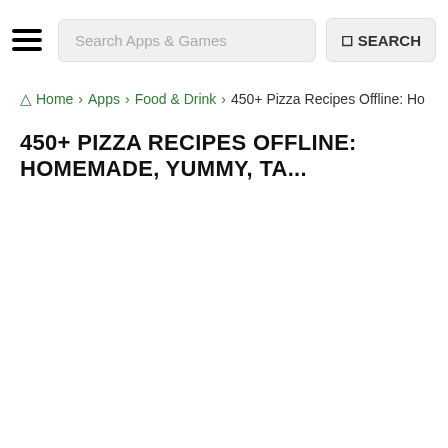Search Apps & Games | SEARCH
Home › Apps › Food & Drink › 450+ Pizza Recipes Offline: Ho
450+ PIZZA RECIPES OFFLINE: HOMEMADE, YUMMY, TA...